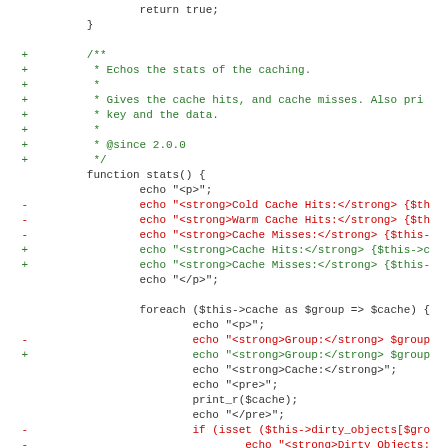Code diff showing a PHP function stats() with added comment block and modified echo statements for cache hits/misses and dirty objects.